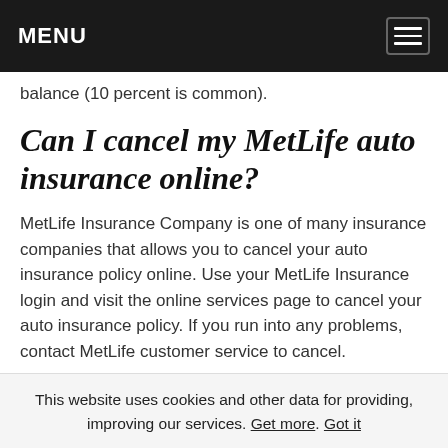MENU
balance (10 percent is common).
Can I cancel my MetLife auto insurance online?
MetLife Insurance Company is one of many insurance companies that allows you to cancel your auto insurance policy online. Use your MetLife Insurance login and visit the online services page to cancel your auto insurance policy. If you run into any problems, contact MetLife customer service to cancel.
Before you cancel, be sure to have a new auto insurance
This website uses cookies and other data for providing, improving our services. Get more. Got it